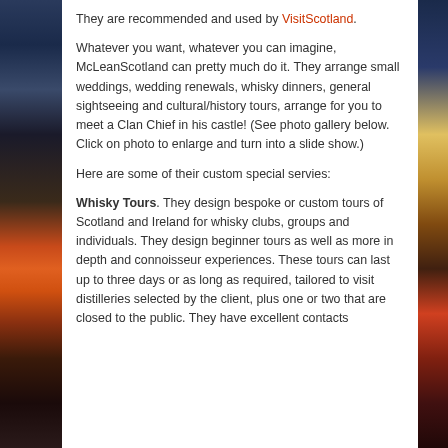They are recommended and used by VisitScotland.
Whatever you want, whatever you can imagine, McLeanScotland can pretty much do it. They arrange small weddings, wedding renewals, whisky dinners, general sightseeing and cultural/history tours, arrange for you to meet a Clan Chief in his castle! (See photo gallery below. Click on photo to enlarge and turn into a slide show.)
Here are some of their custom special servies:
Whisky Tours. They design bespoke or custom tours of Scotland and Ireland for whisky clubs, groups and individuals. They design beginner tours as well as more in depth and connoisseur experiences. These tours can last up to three days or as long as required, tailored to visit distilleries selected by the client, plus one or two that are closed to the public. They have excellent contacts